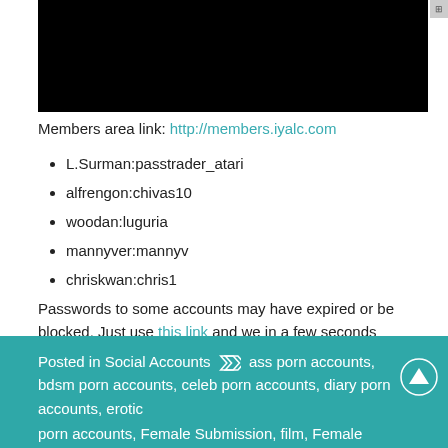[Figure (photo): Black rectangle image area at top of page]
Members area link: http://members.iyalc.com
L.Surman:passtrader_atari
alfrengon:chivas10
woodan:luguria
mannyver:mannyv
chriskwan:chris1
Passwords to some accounts may have expired or be blocked. Just use this link and we in a few seconds generate a new account for you.
Posted in Social Accounts  ass porn accounts, bdsm porn accounts, celeb porn accounts, diary porn accounts, erotic porn accounts, Female Submission, film, Female Submission